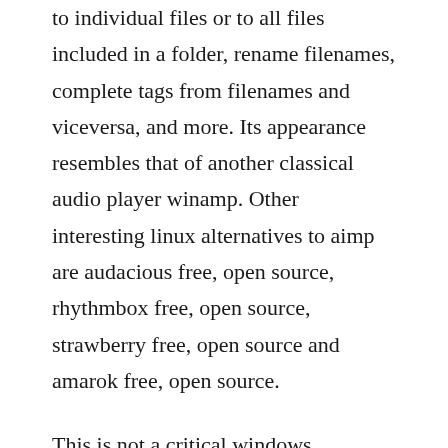to individual files or to all files included in a folder, rename filenames, complete tags from filenames and viceversa, and more. Its appearance resembles that of another classical audio player winamp. Other interesting linux alternatives to aimp are audacious free, open source, rhythmbox free, open source, strawberry free, open source and amarok free, open source.
This is not a critical windows component and should be removed if known to cause problems. Unlike so many programs that are designed to do something, do something and